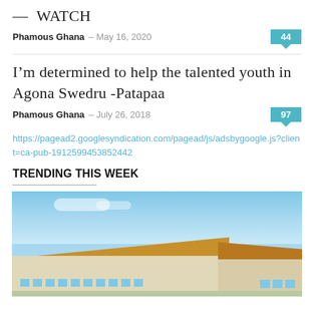— WATCH
Phamous Ghana — May 16, 2020
44
I'm determined to help the talented youth in Agona Swedru -Patapaa
Phamous Ghana — July 26, 2018
97
https://pagead2.googlesyndication.com/pagead/js/adsbygoogle.js?client=ca-pub-1912599453852442
TRENDING THIS WEEK
[Figure (photo): Exterior photo of a building complex with thatched/orange roofs under a bright blue sky, appears to be a resort or school in Ghana]